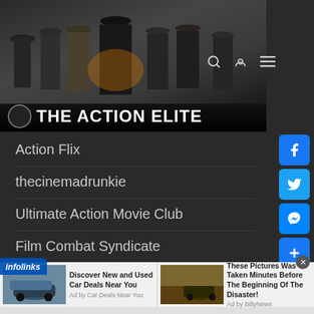[Figure (illustration): The Action Elite website banner showing a movie collage with action figures and the site logo with text THE ACTION ELITE]
Action Flix
thecinemadrunkie
Ultimate Action Movie Club
Film Combat Syndicate
Dan's Movie Report
[Figure (screenshot): Infolinks ad bar with two advertisements: 'Discover New and Used Car Deals Near You' by Car Deals Near You, and 'These Pictures Was Taken Minutes Before The Beginning Of The Disaster!' by BillyNews]